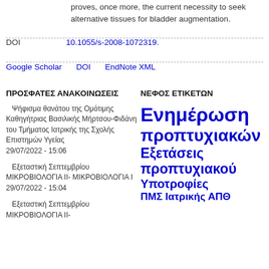proves, once more, the current necessity to seek alternative tissues for bladder augmentation.
DOI   10.1055/s-2008-1072319.
Google Scholar   DOI   EndNote XML
ΠΡΟΣΦΑΤΕΣ ΑΝΑΚΟΙΝΩΣΕΙΣ
ΝΕΦΟΣ ΕΤΙΚΕΤΩΝ
Ψήφισμα θανάτου της Ομότιμης Καθηγήτριας Βασιλικής Μήρτσου-Φιδάνη του Τμήματος Ιατρικής της Σχολής Επιστημών Υγείας
29/07/2022 - 15:06
Εξεταστική Σεπτεμβρίου ΜΙΚΡΟΒΙΟΛΟΓΙΑ ΙΙ- ΜΙΚΡΟΒΙΟΛΟΓΙΑ Ι
29/07/2022 - 15:04
Εξεταστική Σεπτεμβρίου ΜΙΚΡΟΒΙΟΛΟΓΙΑ ΙΙ-
Ενημέρωση προπτυχιακών Εξετάσεις προπτυχιακού Υποτροφίες ΠΜΣ Ιατρικής ΑΠΘ